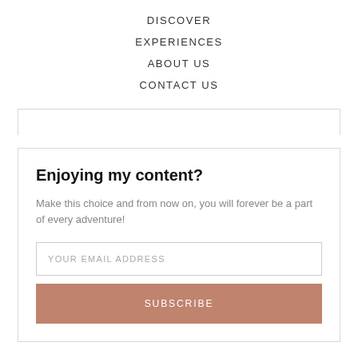DISCOVER
EXPERIENCES
ABOUT US
CONTACT US
Enjoying my content?
Make this choice and from now on, you will forever be a part of every adventure!
YOUR EMAIL ADDRESS
SUBSCRIBE